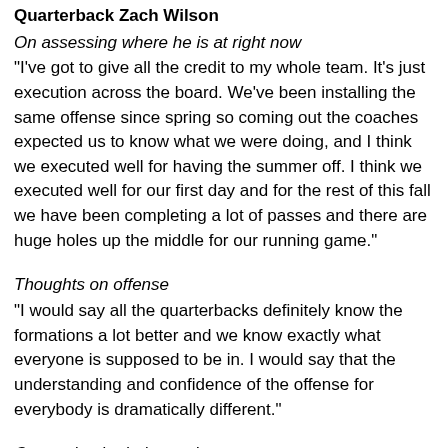Quarterback Zach Wilson
On assessing where he is at right now
“I’ve got to give all the credit to my whole team. It’s just execution across the board. We’ve been installing the same offense since spring so coming out the coaches expected us to know what we were doing, and I think we executed well for having the summer off. I think we executed well for our first day and for the rest of this fall we have been completing a lot of passes and there are huge holes up the middle for our running game.”
Thoughts on offense
“I would say all the quarterbacks definitely know the formations a lot better and we know exactly what everyone is supposed to be in. I would say that the understanding and confidence of the offense for everybody is dramatically different.”
On coming in during spring
“That was the best decision I’ve ever made. I learned the